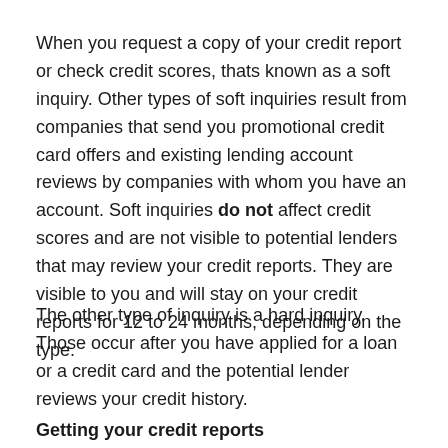When you request a copy of your credit report or check credit scores, thats known as a soft inquiry. Other types of soft inquiries result from companies that send you promotional credit card offers and existing lending account reviews by companies with whom you have an account. Soft inquiries do not affect credit scores and are not visible to potential lenders that may review your credit reports. They are visible to you and will stay on your credit reports for 12 to 24 months, depending on the type.
The other type of inquiry is a hard inquiry. Those occur after you have applied for a loan or a credit card and the potential lender reviews your credit history.
Getting your credit reports